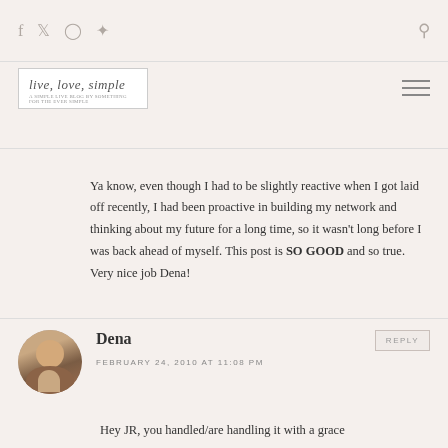live, love, simple
Ya know, even though I had to be slightly reactive when I got laid off recently, I had been proactive in building my network and thinking about my future for a long time, so it wasn't long before I was back ahead of myself. This post is SO GOOD and so true. Very nice job Dena!
Dena
FEBRUARY 24, 2010 AT 11:08 PM
Hey JR, you handled/are handling it with a grace